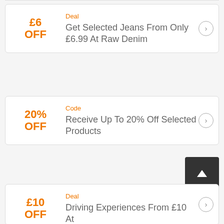£6 OFF
Deal
Get Selected Jeans From Only £6.99 At Raw Denim
20% OFF
Code
Receive Up To 20% Off Selected Products
£10 OFF
Deal
Driving Experiences From £10 At